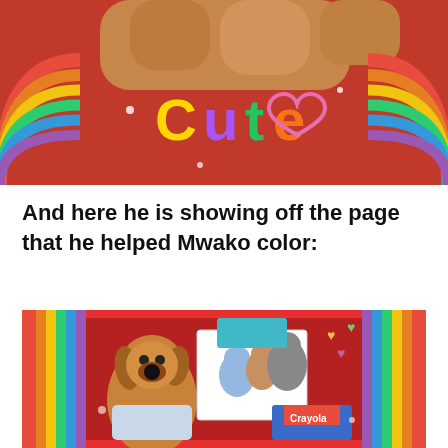[Figure (photo): A photo with rainbow border showing stuffed animals and text 'Cute' with a heart drawn in colorful letters on a red background with rainbow decorations on the sides.]
And here he is showing off the page that he helped Mwako color:
[Figure (photo): A photo with a rainbow/red border showing a stuffed dog toy holding up a colored coloring page featuring Bluey characters, with Crayola crayons box visible in the background.]